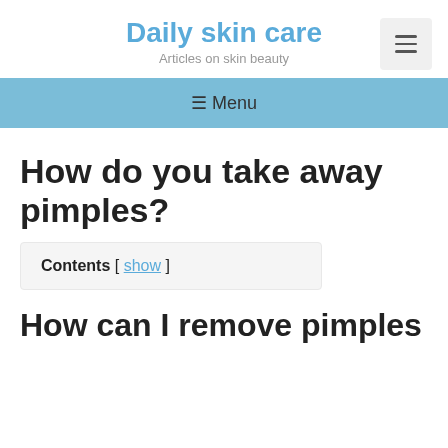Daily skin care
Articles on skin beauty
≡ Menu
How do you take away pimples?
Contents [ show ]
How can I remove pimples